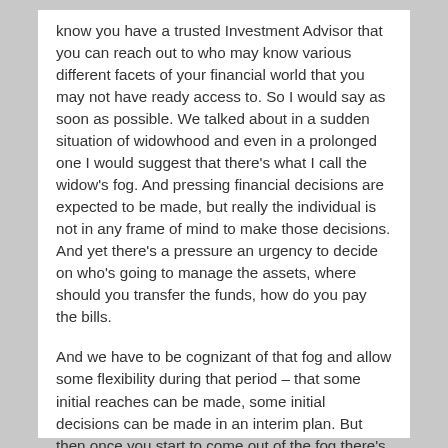know you have a trusted Investment Advisor that you can reach out to who may know various different facets of your financial world that you may not have ready access to. So I would say as soon as possible. We talked about in a sudden situation of widowhood and even in a prolonged one I would suggest that there's what I call the widow's fog. And pressing financial decisions are expected to be made, but really the individual is not in any frame of mind to make those decisions. And yet there's a pressure an urgency to decide on who's going to manage the assets, where should you transfer the funds, how do you pay the bills.
And we have to be cognizant of that fog and allow some flexibility during that period – that some initial reaches can be made, some initial decisions can be made in an interim plan. But then once you start to come out of the fog there's flexibility to make changes that make better sense for your ongoing independence.